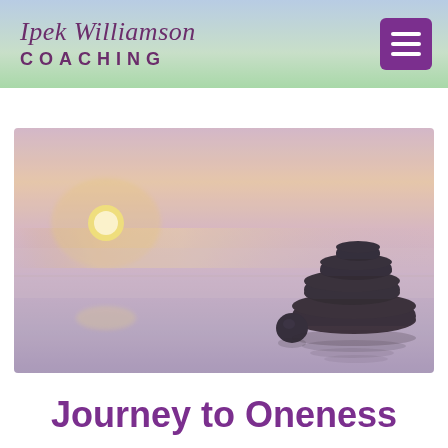Ipek Williamson COACHING
[Figure (photo): Zen stones stacked on a reflective surface with a soft sunset/sunrise background in warm peach and lavender tones. A small round stone sits beside a stack of flat balanced stones on the right side.]
Journey to Oneness